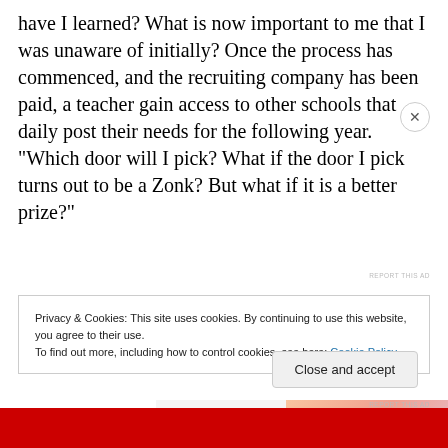have I learned? What is now important to me that I was unaware of initially? Once the process has commenced, and the recruiting company has been paid, a teacher gain access to other schools that daily post their needs for the following year. “Which door will I pick? What if the door I pick turns out to be a Zonk? But what if it is a better prize?”
[Figure (other): WordPress VIP advertisement banner with 'Learn more' button on gradient background]
Privacy & Cookies: This site uses cookies. By continuing to use this website, you agree to their use.
To find out more, including how to control cookies, see here: Cookie Policy
Close and accept